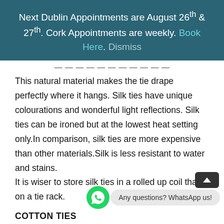Next Dublin Appointments are August 26th & 27th. Cork Appointments are weekly. Book Here. Dismiss
This natural material makes the tie drape perfectly where it hangs. Silk ties have unique colourations and wonderful light reflections. Silk ties can be ironed but at the lowest heat setting only.In comparison, silk ties are more expensive than other materials.Silk is less resistant to water and stains.
It is wiser to store silk ties in a rolled up coil than on a tie rack.
COTTON TIES
Natural cotton is a material that breathes well so that it is suitable for anytime of y…
Flossy cotton material can easily lose its shape and